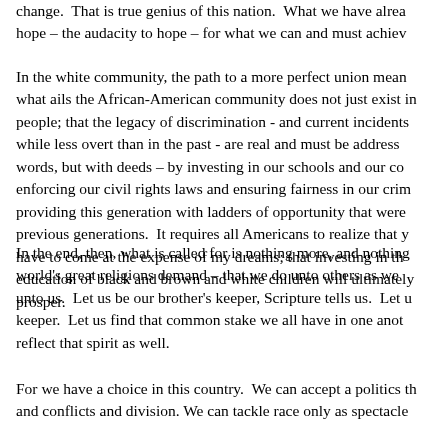change.  That is true genius of this nation.  What we have already – the audacity to hope – for what we can and must achieve –
In the white community, the path to a more perfect union means acknowledging that what ails the African-American community does not just exist in the minds of black people; that the legacy of discrimination - and current incidents of discrimination, while less overt than in the past - are real and must be addressed. Not just with words, but with deeds – by investing in our schools and our communities; by enforcing our civil rights laws and ensuring fairness in our criminal justice system; by providing this generation with ladders of opportunity that were unavailable for previous generations.  It requires all Americans to realize that your dreams do not have to come at the expense of my dreams; that investing in the health, welfare, and education of black and brown and white children will ultimately help all of America prosper.
In the end, then, what is called for is nothing more, and nothing less, than what all the world's great religions demand – that we do unto others as we would have them do unto us.  Let us be our brother's keeper, Scripture tells us.  Let us be our sister's keeper.  Let us find that common stake we all have in one another, and let our politics reflect that spirit as well.
For we have a choice in this country.  We can accept a politics that breeds division, and conflict, and cynicism.  We can tackle race only as spectacle – as we did in the OJ trial...